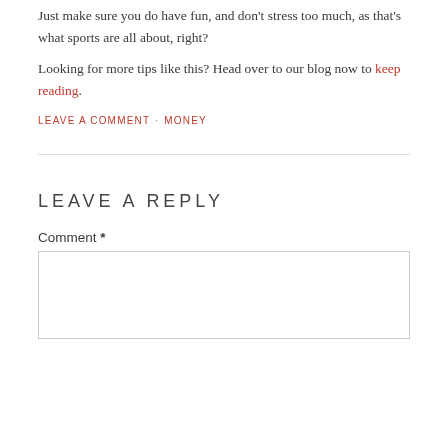Just make sure you do have fun, and don't stress too much, as that's what sports are all about, right?
Looking for more tips like this? Head over to our blog now to keep reading.
LEAVE A COMMENT · MONEY
LEAVE A REPLY
Comment *